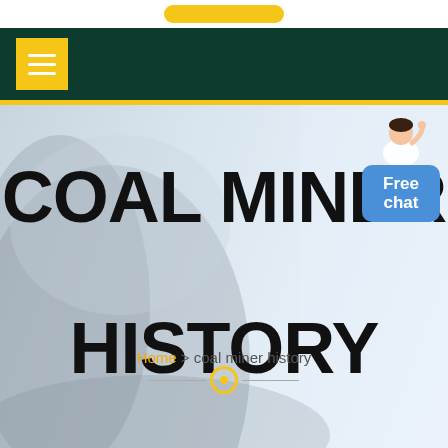[Figure (screenshot): Yellow rounded button at top of page]
[Figure (screenshot): Dark green navigation bar with yellow hamburger menu button]
[Figure (photo): Hero image of coal miner with helmet against light blue-grey background]
COAL MINER HISTORY
Home > coal miner history
[Figure (illustration): Free chat button with avatar in top right of hero area]